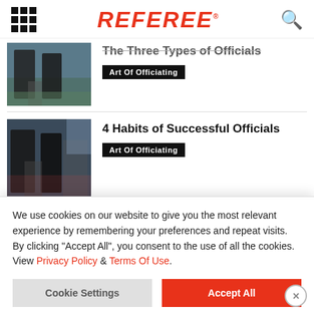REFEREE
The Three Types of Officials
Art Of Officiating
[Figure (photo): Two umpires in black uniforms standing on a baseball field]
4 Habits of Successful Officials
Art Of Officiating
[Figure (photo): Two officials in black uniforms with crowd in background]
We use cookies on our website to give you the most relevant experience by remembering your preferences and repeat visits. By clicking "Accept All", you consent to the use of all the cookies. View Privacy Policy & Terms Of Use.